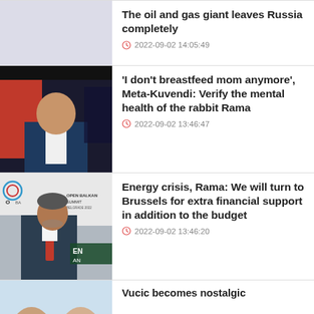[Figure (photo): Light purple/grey placeholder thumbnail for first news article]
The oil and gas giant leaves Russia completely
2022-09-02 14:05:49
[Figure (photo): Man in blue suit at press conference with microphone, dark background with red elements]
'I don't breastfeed mom anymore', Meta-Kuvendi: Verify the mental health of the rabbit Rama
2022-09-02 13:46:47
[Figure (photo): Man in suit with red tie speaking at Open Balkan Summit Belgrade conference]
Energy crisis, Rama: We will turn to Brussels for extra financial support in addition to the budget
2022-09-02 13:46:20
[Figure (photo): Partial photo of two men, bottom of page]
Vucic becomes nostalgic